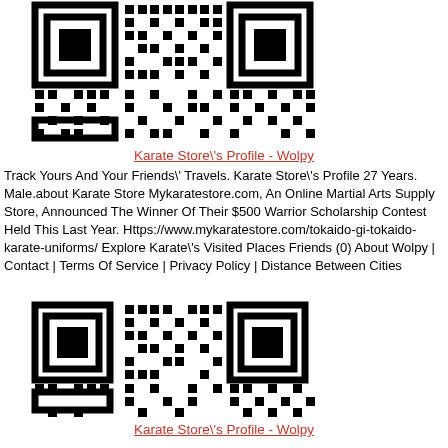[Figure (other): QR code image, black and white, square]
Karate Store\'s Profile - Wolpy
Track Yours And Your Friends\' Travels. Karate Store\'s Profile 27 Years. Male.about Karate Store Mykaratestore.com, An Online Martial Arts Supply Store, Announced The Winner Of Their $500 Warrior Scholarship Contest Held This Last Year. Https://www.mykaratestore.com/tokaido-gi-tokaido-karate-uniforms/ Explore Karate\'s Visited Places Friends (0) About Wolpy | Contact | Terms Of Service | Privacy Policy | Distance Between Cities
[Figure (other): QR code image, black and white, square]
Karate Store\'s Profile - Wolpy
Track Yours And Your Friends\' Travels. Karate Store\'s Profile 27 Years. Male.about Karate Store Mykaratestore.com, An Online Martial Arts Supply Store, Announced The Winner Of Their $500 Warrior Scholarship Contest Held This Last Year. Https://www.mykaratestore.com/tokaido-gi-tokaido-karate-uniforms/ Explore Karate\'s Visited Places Friends (0) About Wolpy | Contact | Terms Of Service | Privacy Policy | Distance Between Cities